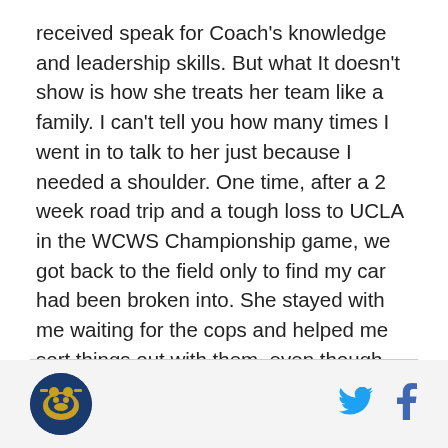received speak for Coach's knowledge and leadership skills. But what It doesn't show is how she treats her team like a family. I can't tell you how many times I went in to talk to her just because I needed a shoulder. One time, after a 2 week road trip and a tough loss to UCLA in the WCWS Championship game, we got back to the field only to find my car had been broken into. She stayed with me waiting for the cops and helped me sort things out with them, even though I'm sure she wanted to go home just as bad as everyone else. I will never be able to repay her for everything she helped me with and taught me; all I can do is aspire to be like her when I coach.
[Figure (logo): Circular logo with navy/dark blue background and golden bear or animal mascot]